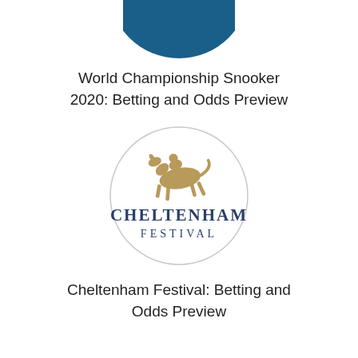[Figure (logo): Partial blue circular logo at top of page, cropped — only bottom portion visible]
World Championship Snooker 2020: Betting and Odds Preview
[Figure (logo): Cheltenham Festival circular logo with a gold/tan jockey on horseback silhouette above the text CHELTENHAM FESTIVAL in navy blue serif font, inside a light gray circle border]
Cheltenham Festival: Betting and Odds Preview